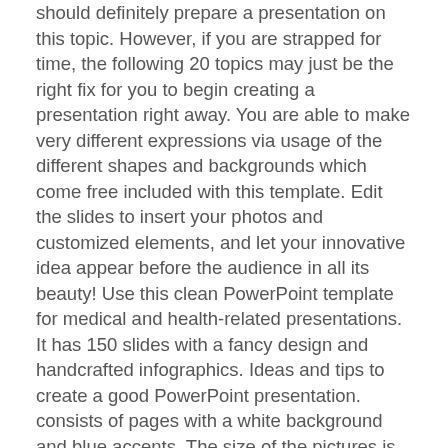should definitely prepare a presentation on this topic. However, if you are strapped for time, the following 20 topics may just be the right fix for you to begin creating a presentation right away. You are able to make very different expressions via usage of the different shapes and backgrounds which come free included with this template. Edit the slides to insert your photos and customized elements, and let your innovative idea appear before the audience in all its beauty! Use this clean PowerPoint template for medical and health-related presentations. It has 150 slides with a fancy design and handcrafted infographics. Ideas and tips to create a good PowerPoint presentation. consists of pages with a white background and blue accents. The size of the pictures is 16:9. Get ready to start developing slides that will help you or your client — an orthodontist, endodontist, periodontist, pedodontist, medical person, dentist, exodontist, doctor, dentist, and other dental professionals promote your business? Use at least one slide to talk about the problem you are solving and the people who have the trouble. With a wide variety of pages and different types of blocks, you can collect almost anything. Great for doctors, dentistry, pharmacy,